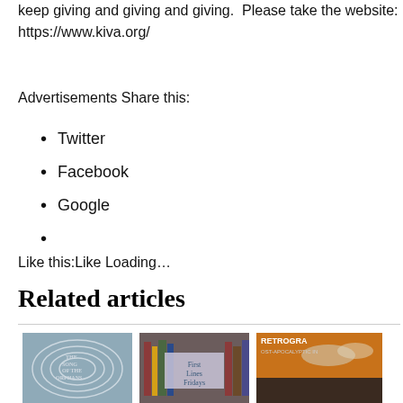keep giving and giving and giving.  Please take the website: https://www.kiva.org/
Advertisements Share this:
Twitter
Facebook
Google
Like this:Like Loading...
Related articles
[Figure (photo): Book cover: The Song of the Orphans]
[Figure (photo): First Lines Fridays blog image with books in background]
[Figure (photo): Retrograde post-apocalyptic book cover]
First Lines